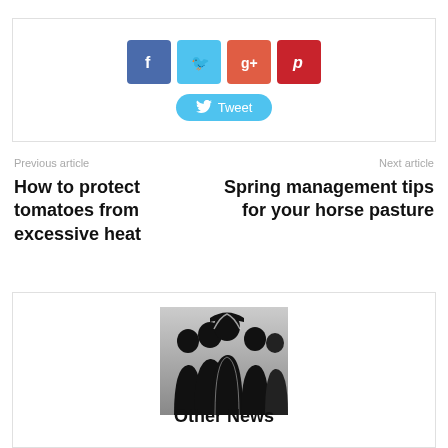[Figure (other): Social share buttons: Facebook (blue), Twitter (light blue), Google+ (orange-red), Pinterest (dark red), and a Tweet button]
Previous article
Next article
How to protect tomatoes from excessive heat
Spring management tips for your horse pasture
[Figure (photo): Silhouette of a group of people in black and white]
Other News